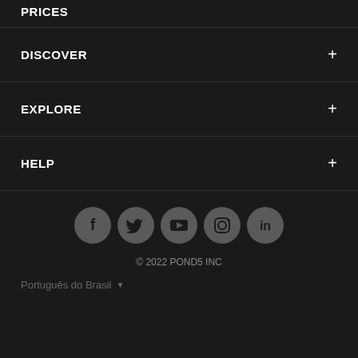PRICES
DISCOVER +
EXPLORE +
HELP +
[Figure (illustration): Row of 5 social media icons (Facebook, Twitter, YouTube, Instagram, LinkedIn) in gray circular buttons]
© 2022 POND5 INC
Português do Brasil ▼